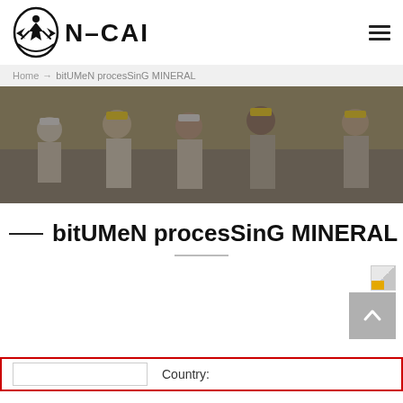[Figure (logo): N-CAI company logo with circular emblem showing a figure and text N-CAI in bold]
Home → bitUMeN procesSinG MINERAL
[Figure (photo): Group of construction workers wearing hard hats, smiling, in front of industrial equipment]
bitUMeN procesSinG MINERAL
[Figure (photo): Small partially visible image thumbnail in upper right corner]
Country: